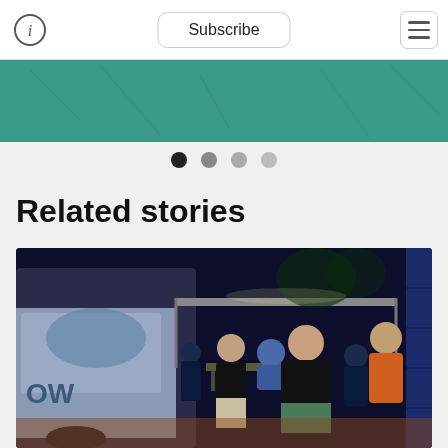Subscribe
[Figure (photo): Teal/green decorative banner image]
[Figure (infographic): Carousel navigation dots: four dots, first filled black, remaining gray]
Related stories
[Figure (photo): Night-time outdoor event photo showing a van, people gathered around a registration table with a canopy, and people standing in a crowd near blue shipping containers]